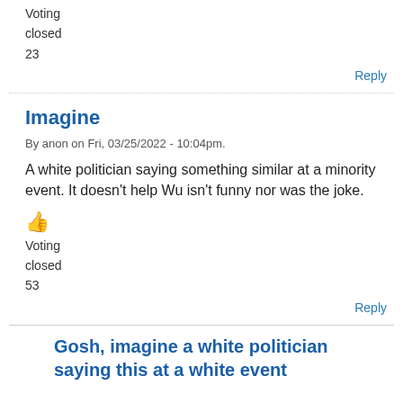Voting
closed
23
Reply
Imagine
By anon on Fri, 03/25/2022 - 10:04pm.
A white politician saying something similar at a minority event. It doesn't help Wu isn't funny nor was the joke.
Voting
closed
53
Reply
Gosh, imagine a white politician saying this at a white event